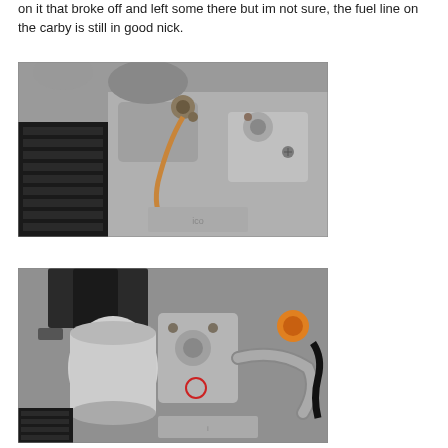on it that broke off and left some there but im not sure, the fuel line on the carby is still in good nick.
[Figure (photo): Close-up photograph of a motorcycle engine showing the carburetor area with metal components, cooling fins on the left, and various engine parts visible.]
[Figure (photo): Photograph of a motorcycle engine from a slightly different angle showing the carburetor, oil filter canister, intake pipes, and an orange fuel cap visible on the right side.]